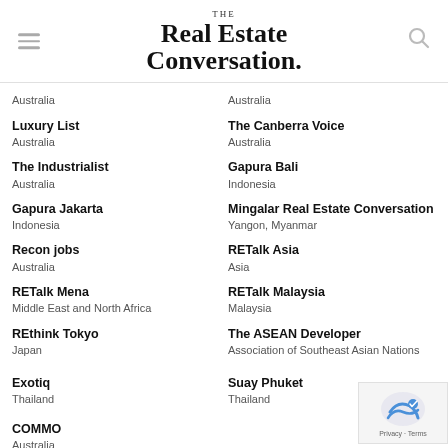THE Real Estate Conversation.
Australia
Australia
Luxury List
Australia
The Canberra Voice
Australia
The Industrialist
Australia
Gapura Bali
Indonesia
Gapura Jakarta
Indonesia
Mingalar Real Estate Conversation
Yangon, Myanmar
Recon jobs
Australia
RETalk Asia
Asia
RETalk Mena
Middle East and North Africa
RETalk Malaysia
Malaysia
REthink Tokyo
Japan
The ASEAN Developer
Association of Southeast Asian Nations
Exotiq
Thailand
Suay Phuket
Thailand
COMMO
Australia